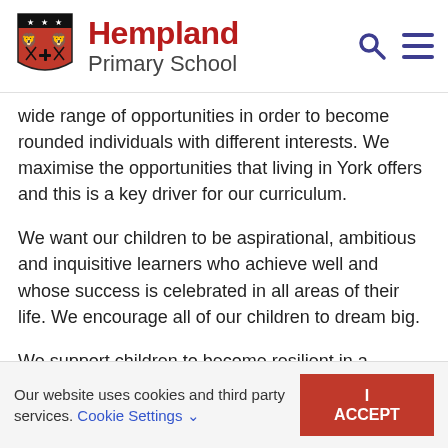[Figure (logo): Hempland Primary School logo with shield crest and school name]
wide range of opportunities in order to become rounded individuals with different interests. We maximise the opportunities that living in York offers and this is a key driver for our curriculum.
We want our children to be aspirational, ambitious and inquisitive learners who achieve well and whose success is celebrated in all areas of their life. We encourage all of our children to dream big.
We support children to become resilient in a changing world and prepare them for their future.
Our website uses cookies and third party services. Cookie Settings I ACCEPT